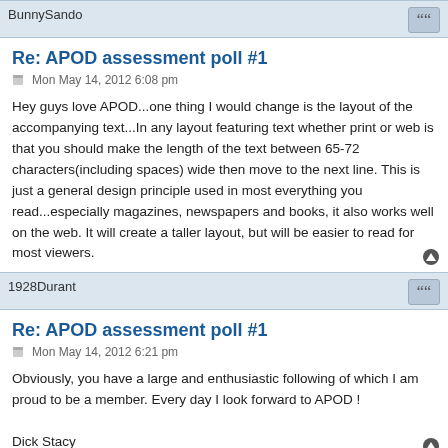BunnySando
Re: APOD assessment poll #1
Mon May 14, 2012 6:08 pm
Hey guys love APOD...one thing I would change is the layout of the accompanying text...In any layout featuring text whether print or web is that you should make the length of the text between 65-72 characters(including spaces) wide then move to the next line. This is just a general design principle used in most everything you read...especially magazines, newspapers and books, it also works well on the web. It will create a taller layout, but will be easier to read for most viewers.
1928Durant
Re: APOD assessment poll #1
Mon May 14, 2012 6:21 pm
Obviously, you have a large and enthusiastic following of which I am proud to be a member. Every day I look forward to APOD !

Dick Stacy